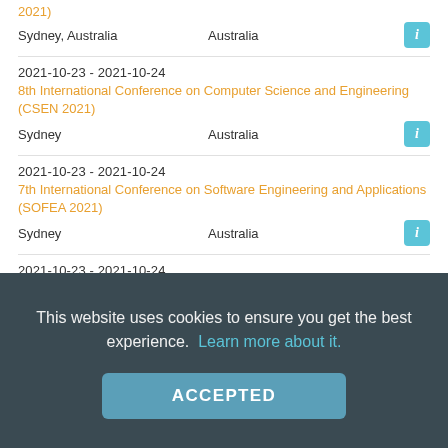2021)
Sydney, Australia    Australia
2021-10-23 - 2021-10-24
8th International Conference on Computer Science and Engineering (CSEN 2021)
Sydney    Australia
2021-10-23 - 2021-10-24
7th International Conference on Software Engineering and Applications (SOFEA 2021)
Sydney    Australia
2021-10-23 - 2021-10-24
2nd International Conference on Data Science and Machine Learning (DSML 2021)
Sydney    Australia
This website uses cookies to ensure you get the best experience.  Learn more about it.
ACCEPTED